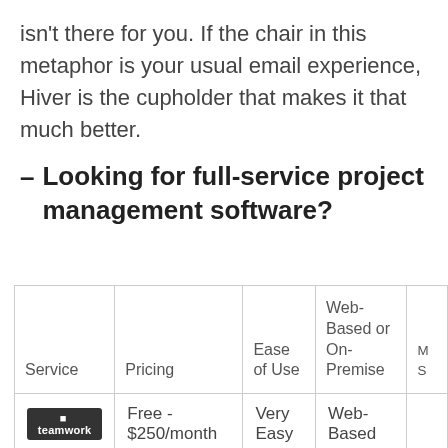isn't there for you. If the chair in this metaphor is your usual email experience, Hiver is the cupholder that makes it that much better.
– Looking for full-service project management software?
| Service | Pricing | Ease of Use | Web-Based or On-Premise | M S |
| --- | --- | --- | --- | --- |
| [teamwork logo] | Free - $250/month | Very Easy | Web-Based | [blue] |
|  |  |  | Web- | [blue] |